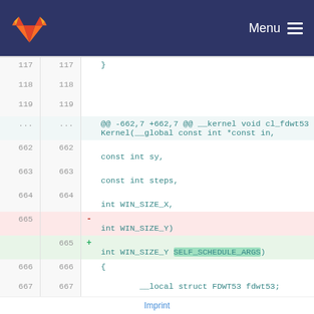[Figure (screenshot): GitLab logo and navigation bar with Menu button]
117  117    }
118  118
119  119
...  ...    @@ -662,7 +662,7 @@ __kernel void cl_fdwt53Kernel(__global const int * const in,
662  662                                                    const int sy,
663  663                                                    const int steps,
664  664                                                    int WIN_SIZE_X,
665       -                                                int WIN_SIZE_Y)
     665  +                                                int WIN_SIZE_Y SELF_SCHEDULE_ARGS)
666  666    {
667  667            __local struct FDWT53 fdwt53;
Imprint